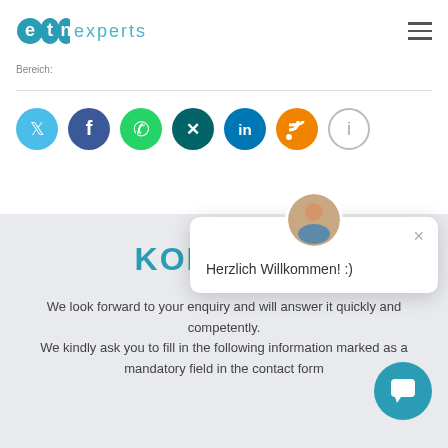ETN experts
Bereich:
[Figure (infographic): Social media sharing icons: Twitter (light blue), Facebook (dark blue), WhatsApp (green), XING (teal), LinkedIn (blue), RSS (orange), Info (grey outline)]
KONTAKTI
We look forward to your enquiry and will answer it quickly and competently.
We kindly ask you to fill in the following information marked as a mandatory field in the contact form
[Figure (screenshot): Chat popup widget with avatar photo, close button (×), and message 'Herzlich Willkommen! :)']
[Figure (infographic): Teal circular chat button with speech bubble icon]